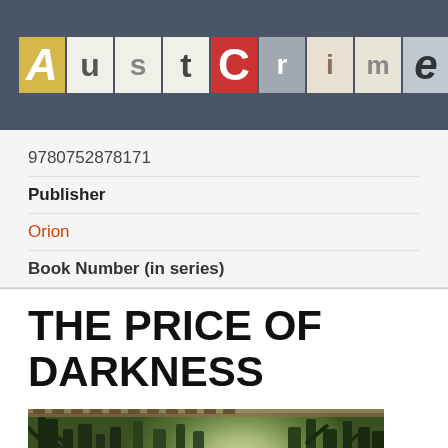AustCrime
9780752878171
Publisher
Orion
Book Number (in series)
THE PRICE OF DARKNESS
[Figure (photo): Book cover photo showing a misty green forest with trees silhouetted against a bright foggy light in the background]